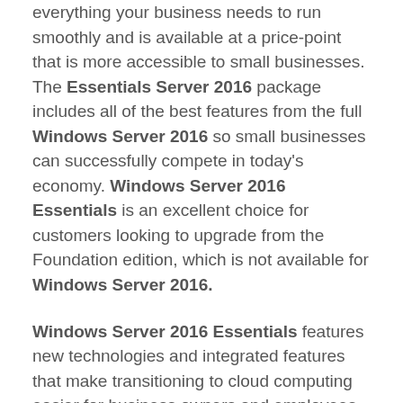everything your business needs to run smoothly and is available at a price-point that is more accessible to small businesses. The Essentials Server 2016 package includes all of the best features from the full Windows Server 2016 so small businesses can successfully compete in today's economy. Windows Server 2016 Essentials is an excellent choice for customers looking to upgrade from the Foundation edition, which is not available for Windows Server 2016.
Windows Server 2016 Essentials features new technologies and integrated features that make transitioning to cloud computing easier for business owners and employees. The server includes added layers of security to keep your information safe and Azure-inspired innovation for the applications and infrastructure to transform the way you do business.
Windows Server 2016 Essentials also has...